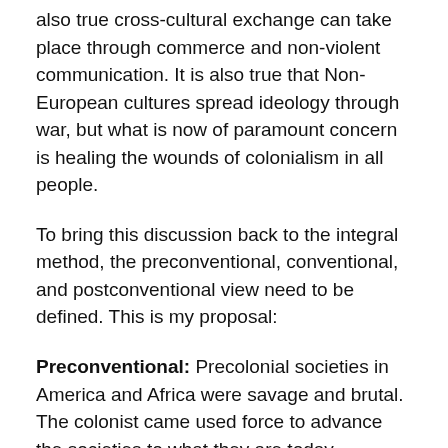also true cross-cultural exchange can take place through commerce and non-violent communication. It is also true that Non-European cultures spread ideology through war, but what is now of paramount concern is healing the wounds of colonialism in all people.
To bring this discussion back to the integral method, the preconventional, conventional, and postconventional view need to be defined. This is my proposal:
Preconventional: Precolonial societies in America and Africa were savage and brutal. The colonist came used force to advance the societies to what they are today.
Conventional: Precolonial societies were utopias. The colonist came in destroyed everything and